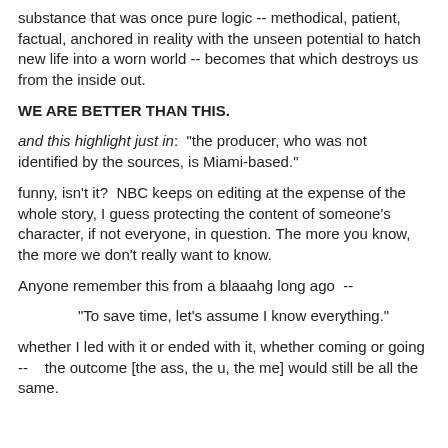substance that was once pure logic -- methodical, patient, factual, anchored in reality with the unseen potential to hatch new life into a worn world -- becomes that which destroys us from the inside out.
WE ARE BETTER THAN THIS.
and this highlight just in:  "the producer, who was not identified by the sources, is Miami-based."
funny, isn't it?  NBC keeps on editing at the expense of the whole story, I guess protecting the content of someone's character, if not everyone, in question. The more you know, the more we don't really want to know.
Anyone remember this from a blaaahg long ago  --
"To save time, let's assume I know everything."
whether I led with it or ended with it, whether coming or going --   the outcome [the ass, the u, the me] would still be all the same.